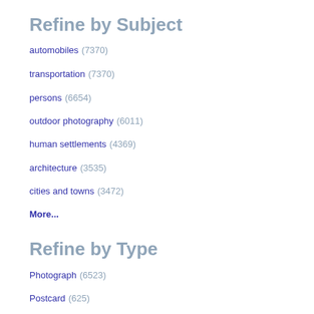Refine by Subject
automobiles (7370)
transportation (7370)
persons (6654)
outdoor photography (6011)
human settlements (4369)
architecture (3535)
cities and towns (3472)
More...
Refine by Type
Photograph (6523)
Postcard (625)
Print (72)